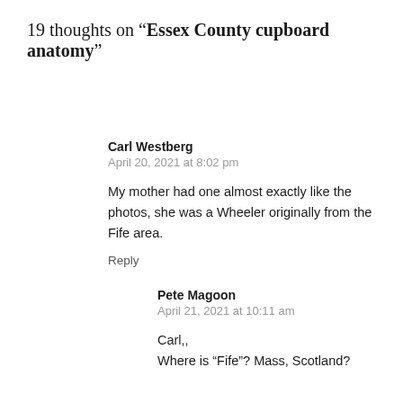19 thoughts on “Essex County cupboard anatomy”
Carl Westberg
April 20, 2021 at 8:02 pm

My mother had one almost exactly like the photos, she was a Wheeler originally from the Fife area.

Reply
Pete Magoon
April 21, 2021 at 10:11 am

Carl,,
Where is “Fife”? Mass, Scotland?